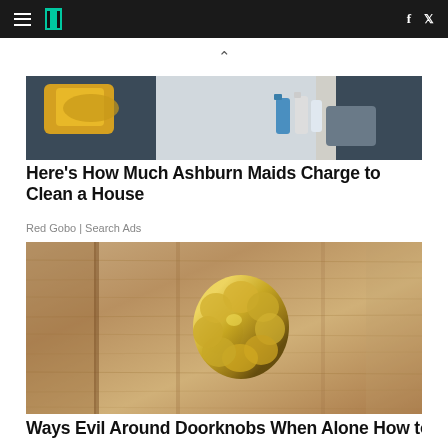HuffPost navigation with hamburger menu, logo, Facebook and Twitter icons
[Figure (photo): Two people wearing dark shirts and yellow cleaning gloves, with spray bottles in the background]
Here's How Much Ashburn Maids Charge to Clean a House
Red Gobo | Search Ads
[Figure (photo): Close-up of a wooden door with an ornate gold/brass flower-shaped door knocker or knob]
Ways Evil Around Doorknobs When Alone How to Wh...